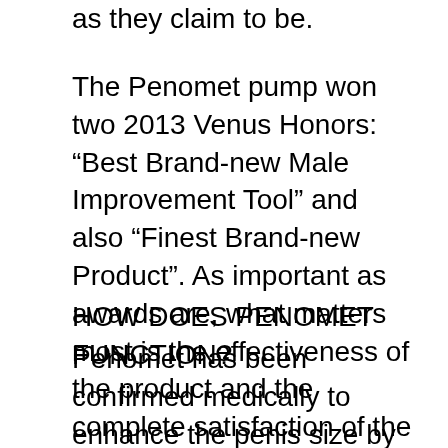as they claim to be.
The Penomet pump won two 2013 Venus Honors: “Best Brand-new Male Improvement Tool” and also “Finest Brand-new Product”. As important as awards are, what matters most is the effectiveness of the product and the complete satisfaction of the clients, two factors that have remained in best harmony given that Penomet’s beginning.
HOW DOES PENOMET FUNCTION?
Penomet has been confirmed medically to enhance the penis size by up to 3 inches in size as well as up to 30% in girth. These claims are backed up by numerous scientific research studies and also countless customer testimonies. Penomet is a